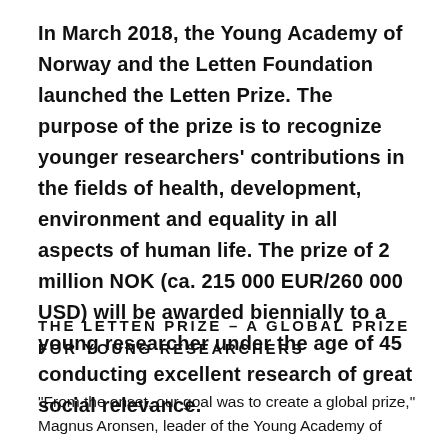In March 2018, the Young Academy of Norway and the Letten Foundation launched the Letten Prize. The purpose of the prize is to recognize younger researchers' contributions in the fields of health, development, environment and equality in all aspects of human life. The prize of 2 million NOK (ca. 215 000 EUR/260 000 USD) will be awarded biennially to a young researcher under the age of 45 conducting excellent research of great social relevance.
THE LETTEN PRIZE – A GLOBAL PRIZE FOR YOUNG RESEARCHERS
“From the onset, our goal was to create a global prize,” Magnus Aronsen, leader of the Young Academy of Norway, said at the launch of the Letten Prize.